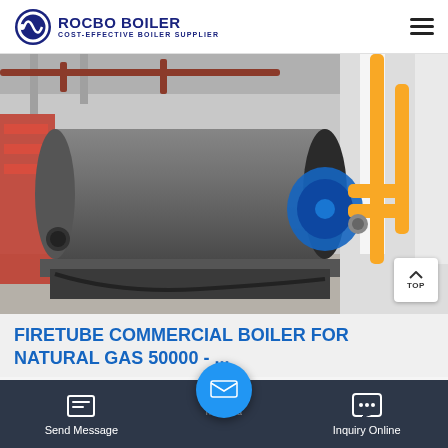ROCBO BOILER — COST-EFFECTIVE BOILER SUPPLIER
[Figure (photo): Industrial firetube boiler in a large indoor facility. A large dark cylindrical boiler vessel sits on a platform, with yellow gas piping visible on the right and red industrial structures on the left. Blue motor/pump attached to front of boiler.]
FIRETUBE COMMERCIAL BOILER FOR NATURAL GAS 50000 - ...
Send Message | Inquiry Online